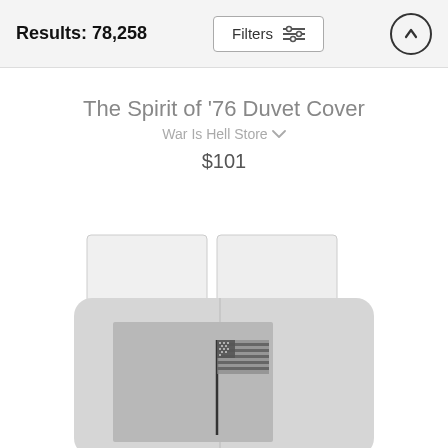Results: 78,258
The Spirit of '76 Duvet Cover
War Is Hell Store
$101
[Figure (photo): A duvet cover product photo showing a bed with white pillows and a grey duvet cover featuring a black-and-white photograph of an American flag on a pole.]